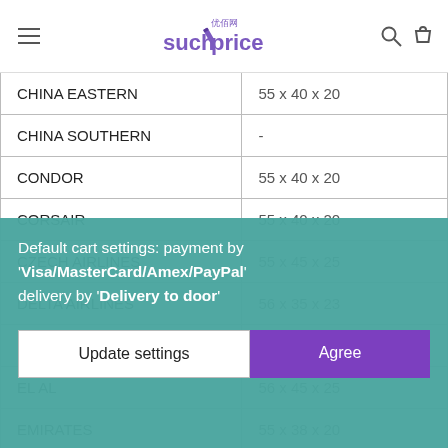suchprice
| Airline | Dimensions (cm) |
| --- | --- |
| CHINA EASTERN | 55 x 40 x 20 |
| CHINA SOUTHERN | - |
| CONDOR | 55 x 40 x 20 |
| CORSAIR | 55 x 40 x 20 |
| CZECH AIRLINES | 55 x 45 x 25 |
| DELTA AIRLINES | 56 x 35 x 23 |
| EASYJET | 56 x 45 x 25 |
| EL AL | 56 x 45 x 25 |
| EMIRATES | 55 x 38 x 20 |
| ETHIOPIAN |  |
| ETIHAD | 50 x 40 x 25 |
Default cart settings: payment by 'Visa/MasterCard/Amex/PayPal' delivery by 'Delivery to door'